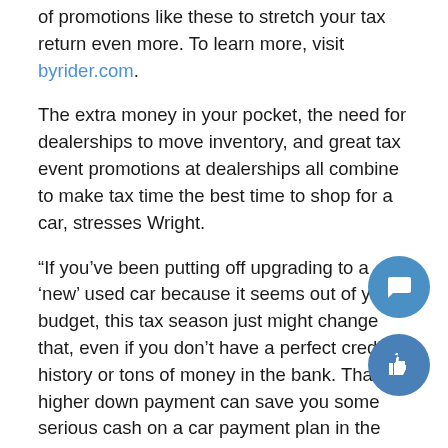of promotions like these to stretch your tax return even more. To learn more, visit byrider.com.
The extra money in your pocket, the need for dealerships to move inventory, and great tax event promotions at dealerships all combine to make tax time the best time to shop for a car, stresses Wright.
“If you’ve been putting off upgrading to a ‘new’ used car because it seems out of your budget, this tax season just might change that, even if you don’t have a perfect credit history or tons of money in the bank. That higher down payment can save you some serious cash on a car payment plan in the long run, making you glad you made the most of your refund this tax season,” says Wright.